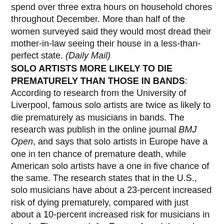spend over three extra hours on household chores throughout December. More than half of the women surveyed said they would most dread their mother-in-law seeing their house in a less-than-perfect state. (Daily Mail)
SOLO ARTISTS MORE LIKELY TO DIE PREMATURELY THAN THOSE IN BANDS: According to research from the University of Liverpool, famous solo artists are twice as likely to die prematurely as musicians in bands. The research was publish in the online journal BMJ Open, and says that solo artists in Europe have a one in ten chance of premature death, while American solo artists have a one in five chance of the same. The research states that in the U.S., solo musicians have about a 23-percent increased risk of dying prematurely, compared with just about a 10-percent increased risk for musicians in bands. The research for Europe found that solo artists have about a 10-percent increased risk in early death, while those in bands have just about a five-percent increased risk. Researchers theorize that bands provide a mutual support mechanism that offers protective health effects. (Daily Mail)
TEN LESSONS ABOUT MEETING THE FAMILY YOU CAN LEARN FROM MOVIES (Tres Sugar):
1) Do: Make a Second Impression. In the movie Fever...